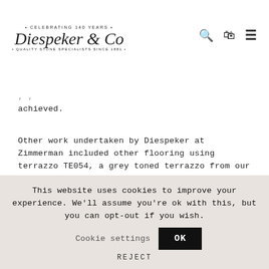• CELEBRATING 140 YEARS • Diespeker & Co • QUALITY STONE SPECIALISTS SINCE 1881 •
achieved.
Other work undertaken by Diespeker at Zimmerman included other flooring using terrazzo TE054, a grey toned terrazzo from our new Standard Plus range (approx. 10m² 200×200 12mm small tiles). Diespeker also supplied and fixed slate around the window frames and entrance door frames, and supplied porcelain tiles for the rest
This website uses cookies to improve your experience. We'll assume you're ok with this, but you can opt-out if you wish. Cookie settings OK REJECT